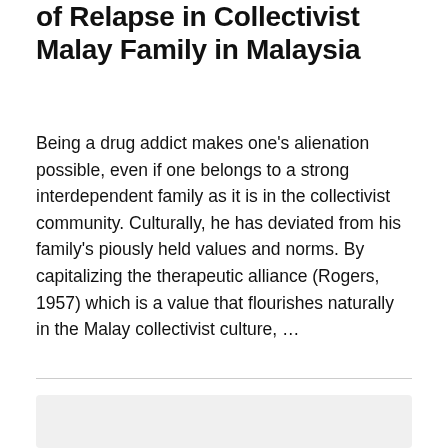of Relapse in Collectivist Malay Family in Malaysia
Being a drug addict makes one's alienation possible, even if one belongs to a strong interdependent family as it is in the collectivist community. Culturally, he has deviated from his family's piously held values and norms. By capitalizing the therapeutic alliance (Rogers, 1957) which is a value that flourishes naturally in the Malay collectivist culture, …
[Figure (other): Gray rectangle placeholder box at bottom of page]